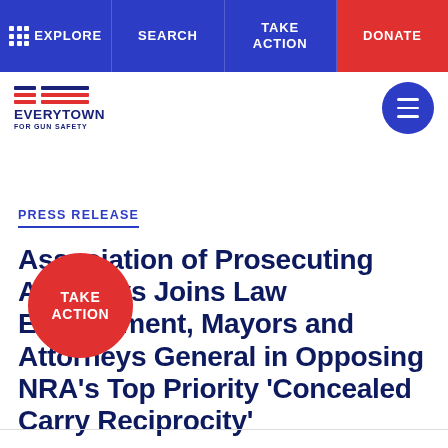EXPLORE | SEARCH | TAKE ACTION | DONATE
[Figure (logo): Everytown For Gun Safety logo with blue and red horizontal stripes]
PRESS RELEASE
Association of Prosecuting Attorneys Joins Law Enforcement, Mayors and Attorneys General in Opposing NRA's Top Priority 'Concealed Carry Reciprocity'
[Figure (other): TAKE ACTION red circular floating button]